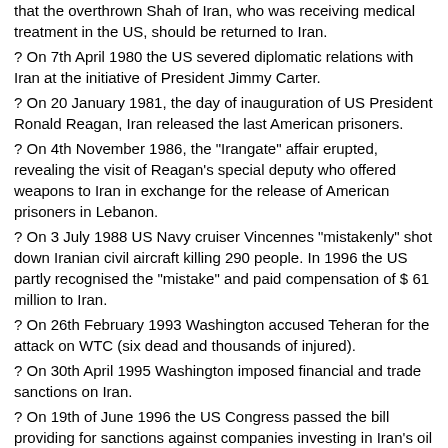that the overthrown Shah of Iran, who was receiving medical treatment in the US, should be returned to Iran.
? On 7th April 1980 the US severed diplomatic relations with Iran at the initiative of President Jimmy Carter.
? On 20 January 1981, the day of inauguration of US President Ronald Reagan, Iran released the last American prisoners.
? On 4th November 1986, the "Irangate" affair erupted, revealing the visit of Reagan's special deputy who offered weapons to Iran in exchange for the release of American prisoners in Lebanon.
? On 3 July 1988 US Navy cruiser Vincennes "mistakenly" shot down Iranian civil aircraft killing 290 people. In 1996 the US partly recognised the "mistake" and paid compensation of $ 61 million to Iran.
? On 26th February 1993 Washington accused Teheran for the attack on WTC (six dead and thousands of injured).
? On 30th April 1995 Washington imposed financial and trade sanctions on Iran.
? On 19th of June 1996 the US Congress passed the bill providing for sanctions against companies investing in Iran's oil industry.
? On 15th September 2000, against the background of UN General Assembly, the two states had their first high-level meeting between Foreign Ministers Madeleine Albright and Kamal Kharazi.
? On 7th October 2001 Iran condemned American invasion of Afghanistan.
? On 29th of January 2002 US President George Bush named Iran, Iraq and North Korea as the "axis of evil".
• On 17th January 2005 US President Bush stated he would not rule out the possibility of military actions against Iran if it continues its nuclear